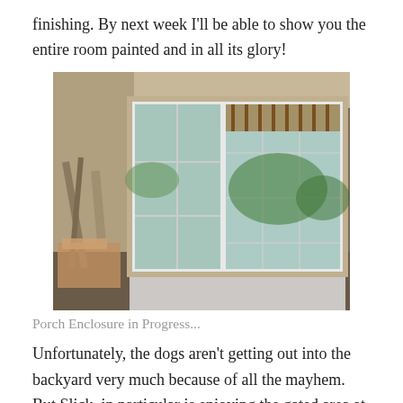finishing. By next week I'll be able to show you the entire room painted and in all its glory!
[Figure (photo): Interior room photo showing sliding glass doors and a window looking out to a backyard with a pergola/porch enclosure under construction; drop cloths on the floor, construction materials visible.]
Porch Enclosure in Progress...
Unfortunately, the dogs aren't getting out into the backyard very much because of all the mayhem.  But Slick, in particular is enjoying the gated area at the front of the house;